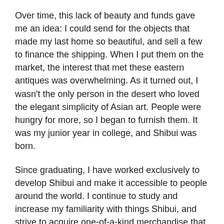Over time, this lack of beauty and funds gave me an idea: I could send for the objects that made my last home so beautiful, and sell a few to finance the shipping. When I put them on the market, the interest that met these eastern antiques was overwhelming. As it turned out, I wasn't the only person in the desert who loved the elegant simplicity of Asian art. People were hungry for more, so I began to furnish them. It was my junior year in college, and Shibui was born.
Since graduating, I have worked exclusively to develop Shibui and make it accessible to people around the world. I continue to study and increase my familiarity with things Shibui, and strive to acquire one-of-a-kind merchandise that can transform and enrich any setting. At Shibui, I do what I love: share my passion with others and add beauty to their lives. Thank you for your interest in our collection; we hope it will enhance your life as well.